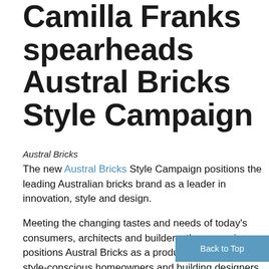Camilla Franks spearheads Austral Bricks Style Campaign
Austral Bricks
The new Austral Bricks Style Campaign positions the leading Australian bricks brand as a leader in innovation, style and design.
Meeting the changing tastes and needs of today's consumers, architects and builders, the campaign positions Austral Bricks as a product through which style-conscious homeowners and building designers